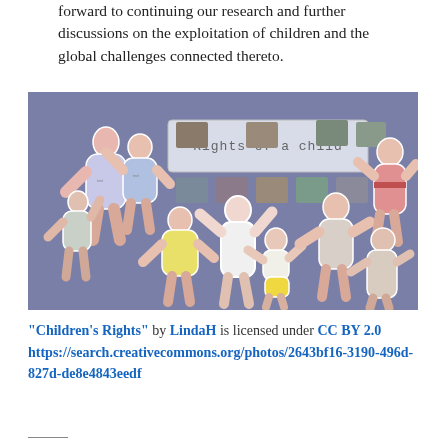forward to continuing our research and further discussions on the exploitation of children and the global challenges connected thereto.
[Figure (photo): A classroom or display board showing cut-out figures of children in various poses, arranged on a blue/grey background. A banner in the center reads 'Rights of a child'. Small photographs of real children are mounted around the banner.]
"Children's Rights" by LindaH is licensed under CC BY 2.0 https://search.creativecommons.org/photos/2643bf16-3190-496d-827d-de8e4843eedf